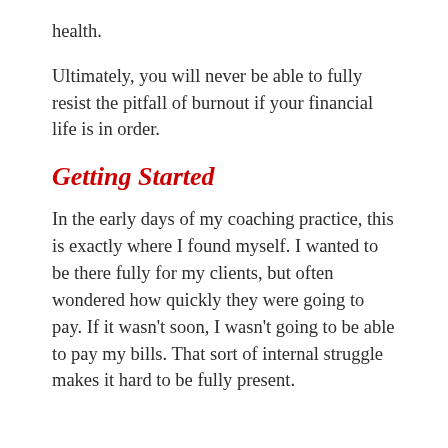health.
Ultimately, you will never be able to fully resist the pitfall of burnout if your financial life is in order.
Getting Started
In the early days of my coaching practice, this is exactly where I found myself. I wanted to be there fully for my clients, but often wondered how quickly they were going to pay. If it wasn't soon, I wasn't going to be able to pay my bills. That sort of internal struggle makes it hard to be fully present.